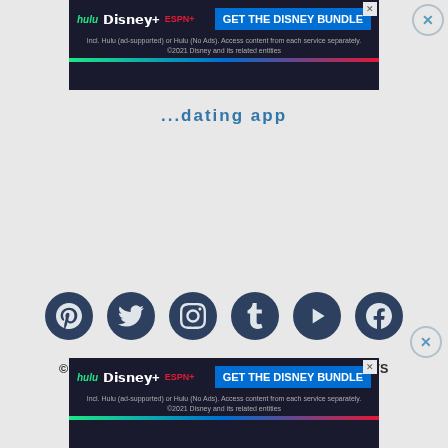[Figure (screenshot): Hulu Disney+ ESPN+ advertisement banner at top: GET THE DISNEY BUNDLE. Incl. Hulu (ad-supported) or Hulu (No Ads). Access content from each service separately. ©2021 Disney and its related entities.]
...dating app
[Figure (infographic): Six social media icon circles in dark navy: Pinterest, Twitter, Instagram, Tumblr, YouTube Play, Facebook]
© COPYRIGHT 2007-2022 ZOOSK, INC. ALL RIGHTS RESERVED.
Safety | Cookie Policy | Privacy Policy | Terms of Use | Imprint | Accessibility
[Figure (screenshot): Hulu Disney+ ESPN+ advertisement banner at bottom: GET THE DISNEY BUNDLE. Incl. Hulu (ad-supported) or Hulu (No Ads). Access content from each service separately. ©2021 Disney and its related entities.]